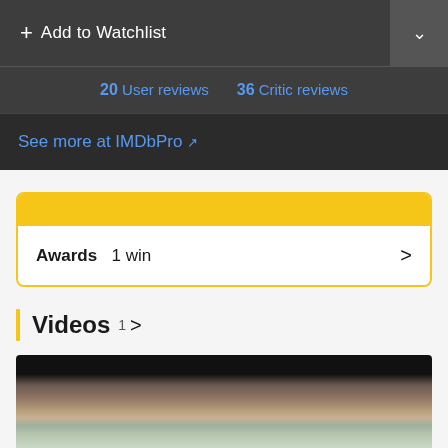+ Add to Watchlist
20 User reviews  36 Critic reviews
See more at IMDbPro ↗
Awards  1 win
Videos 1 >
[Figure (photo): Video thumbnail showing a person outdoors]